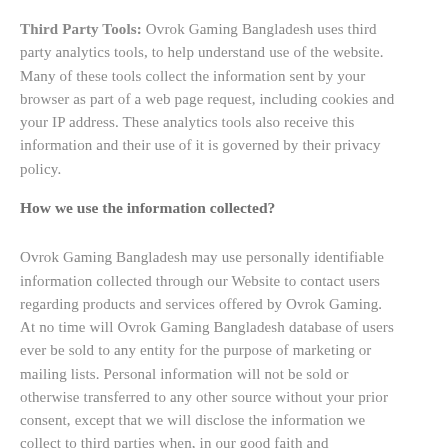Third Party Tools: Ovrok Gaming Bangladesh uses third party analytics tools, to help understand use of the website. Many of these tools collect the information sent by your browser as part of a web page request, including cookies and your IP address. These analytics tools also receive this information and their use of it is governed by their privacy policy.
How we use the information collected?
Ovrok Gaming Bangladesh may use personally identifiable information collected through our Website to contact users regarding products and services offered by Ovrok Gaming. At no time will Ovrok Gaming Bangladesh database of users ever be sold to any entity for the purpose of marketing or mailing lists. Personal information will not be sold or otherwise transferred to any other source without your prior consent, except that we will disclose the information we collect to third parties when, in our good faith and judgement, we are obliged to do so under applicable laws.